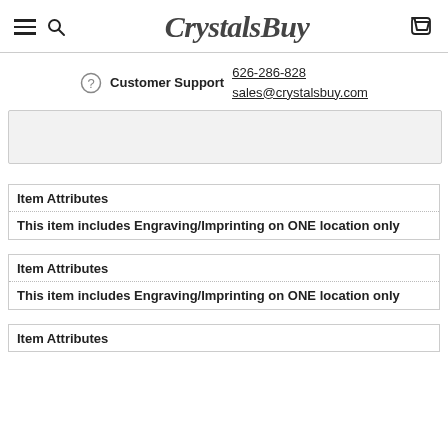CrystalsBuy
Customer Support 626-286-828 sales@crystalsbuy.com
| Item Attributes |
| --- |
| This item includes Engraving/Imprinting on ONE location only |
| Item Attributes |
| --- |
| This item includes Engraving/Imprinting on ONE location only |
| Item Attributes |
| --- |
|  |